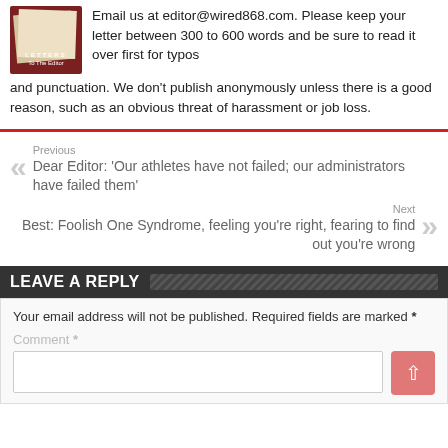Email us at editor@wired868.com. Please keep your letter between 300 to 600 words and be sure to read it over first for typos and punctuation. We don't publish anonymously unless there is a good reason, such as an obvious threat of harassment or job loss.
Previous
Dear Editor: 'Our athletes have not failed; our administrators have failed them'
Next
Best: Foolish One Syndrome, feeling you're right, fearing to find out you're wrong
LEAVE A REPLY
Your email address will not be published. Required fields are marked *
Comment *